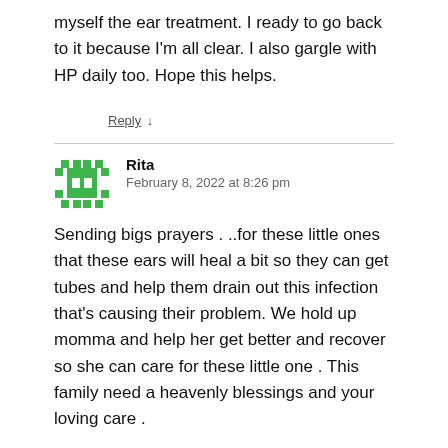myself the ear treatment. I ready to go back to it because I'm all clear. I also gargle with HP daily too. Hope this helps.
Reply ↓
Rita
February 8, 2022 at 8:26 pm
Sending bigs prayers . ..for these little ones that these ears will heal a bit so they can get tubes and help them drain out this infection that's causing their problem. We hold up momma and help her get better and recover so she can care for these little one . This family need a heavenly blessings and your loving care .
Reply ↓